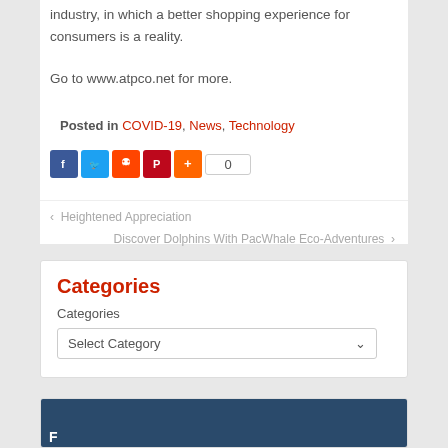industry, in which a better shopping experience for consumers is a reality.
Go to www.atpco.net for more.
Posted in COVID-19, News, Technology
[Figure (infographic): Social share buttons: Facebook (blue), Twitter (light blue), Reddit (orange), Pinterest (red), Plus (orange), share count: 0]
‹ Heightened Appreciation
Discover Dolphins With PacWhale Eco-Adventures ›
Categories
Categories
Select Category
[Figure (photo): Partial view of a dark blue widget panel with white bold text at bottom]